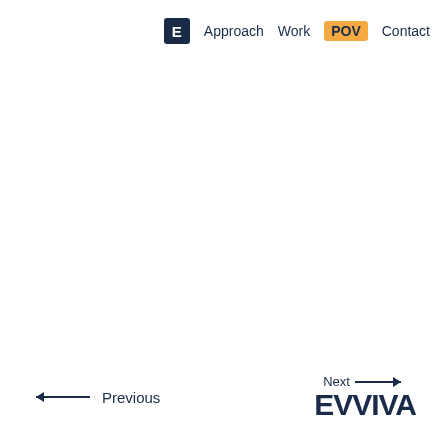E  Approach  Work  POV  Contact
← Previous    Next → EVVIVA